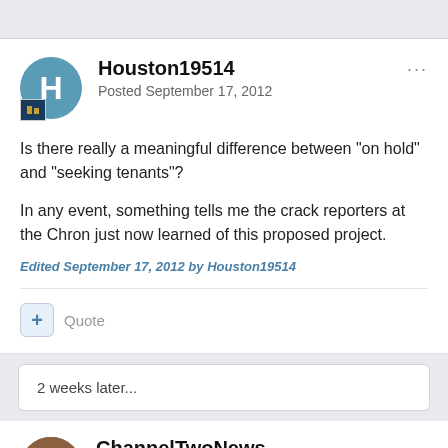Houston19514
Posted September 17, 2012
Is there really a meaningful difference between "on hold" and "seeking tenants"?

In any event, something tells me the crack reporters at the Chron just now learned of this proposed project.
Edited September 17, 2012 by Houston19514
Quote
2 weeks later...
ChannelTwoNews